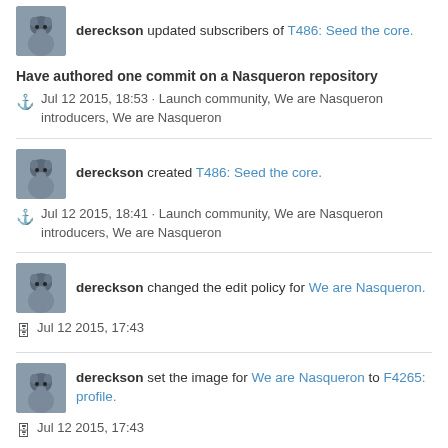dereckson updated subscribers of T486: Seed the core.
Have authored one commit on a Nasqueron repository
⚓ Jul 12 2015, 18:53 · Launch community, We are Nasqueron introducers, We are Nasqueron
dereckson created T486: Seed the core.
⚓ Jul 12 2015, 18:41 · Launch community, We are Nasqueron introducers, We are Nasqueron
dereckson changed the edit policy for We are Nasqueron.
🗄 Jul 12 2015, 17:43
dereckson set the image for We are Nasqueron to F4265: profile.
🗄 Jul 12 2015, 17:43
dereckson created We are Nasqueron.